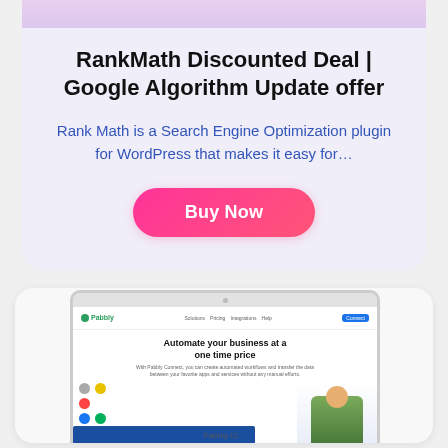RankMath Discounted Deal | Google Algorithm Update offer
Rank Math is a Search Engine Optimization plugin for WordPress that makes it easy for…
[Figure (screenshot): A laptop screenshot showing the Pabbly Connect website with headline 'Automate your business at a one time price', navigation bar, service icons, and a person in a checkered shirt]